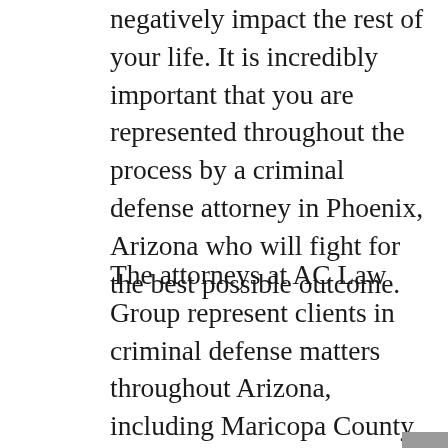negatively impact the rest of your life. It is incredibly important that you are represented throughout the process by a criminal defense attorney in Phoenix, Arizona who will fight for the best possible outcome.
The attorneys at AC Law Group represent clients in criminal defense matters throughout Arizona, including Maricopa County, Pima County, Pinal County, Yavapai County, Gila County, and Coconino County.
We handle all stages of the case, including criminal investigations and charges, hearings, trials, sentencing, and appeals. If you have been charged with a crime we will represent your best interests and make sure